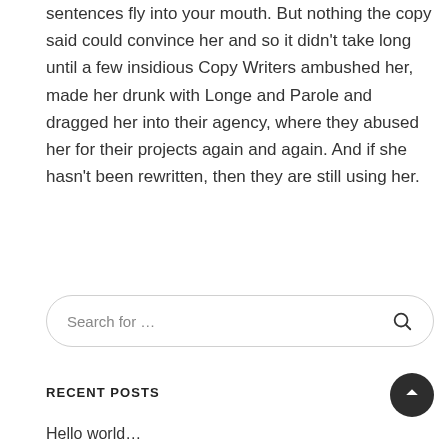sentences fly into your mouth. But nothing the copy said could convince her and so it didn't take long until a few insidious Copy Writers ambushed her, made her drunk with Longe and Parole and dragged her into their agency, where they abused her for their projects again and again. And if she hasn't been rewritten, then they are still using her.
Search for …
RECENT POSTS
Hello world…